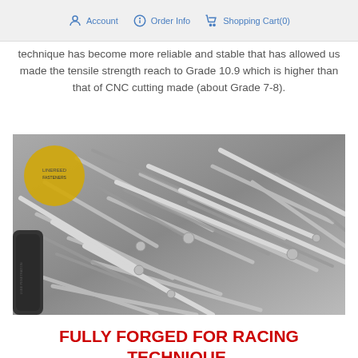Account   Order Info   Shopping Cart(0)
technique has become more reliable and stable that has allowed us made the tensile strength reach to Grade 10.9 which is higher than that of CNC cutting made (about Grade 7-8).
[Figure (photo): A pile of shiny metallic bolts, screws and fasteners photographed in black and white / silver tones, with a yellow circular label visible in the top left corner.]
FULLY FORGED FOR RACING TECHNIQUE.